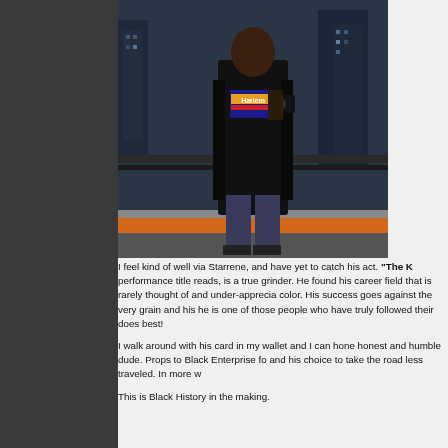[Figure (photo): A young Black man wearing a black hoodie with a 'Harlem' logo t-shirt underneath, holding a camera, standing on what appears to be a train platform with city buildings in the background at dusk. Orange platform edge visible at bottom.]
I feel kind of well via Starrene, and have yet to catch his act. "The K performance title reads, is a true grinder. He found his career field that is rarely thought of and under-apprecia color. His success goes against the very grain and his he is one of those people who have truly followed their does best!
I walk around with his card in my wallet and I can hone honest and humble dude. Props to Black Enterprise fo and his choice to take the road less traveled. In more w
This is Black History in the making.